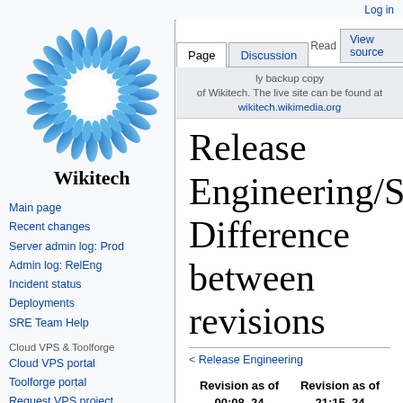Log in
[Figure (logo): Wikitech sunflower logo with blue petals and white center, with 'Wikitech' text below]
Main page
Recent changes
Server admin log: Prod
Admin log: RelEng
Incident status
Deployments
SRE Team Help
Cloud VPS & Toolforge
Cloud VPS portal
Toolforge portal
Request VPS project
Admin log: Cloud VPS
ly backup copy of Wikitech. The live site can be found at wikitech.wikimedia.org
Release Engineering/SAL: Difference between revisions
< Release Engineering
| Revision as of 00:08, 24 January 2020 (view source) | Revision as of 21:15, 24 January 2020 (view source) |
| --- | --- |